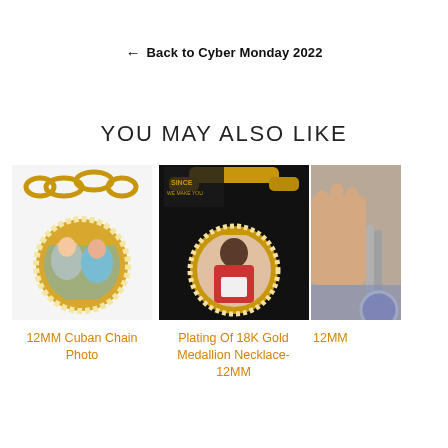← Back to Cyber Monday 2022
YOU MAY ALSO LIKE
[Figure (photo): Gold Cuban chain with round diamond-framed medallion photo pendant showing two women]
12MM Cuban Chain Photo
[Figure (photo): 18K gold medallion necklace with 12MM Cuban chain showing a man's portrait in round frame on dark background]
Plating Of 18K Gold Medallion Necklace- 12MM
[Figure (photo): Partial view of a person holding a chain with a medallion photo pendant, cropped]
12MM